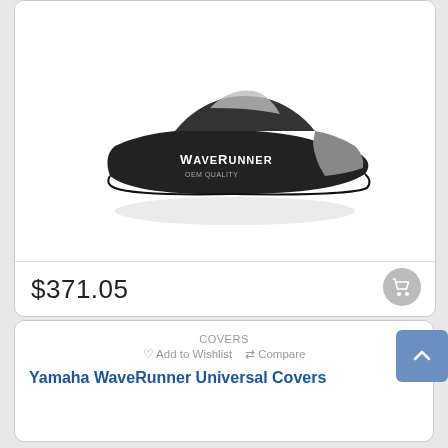[Figure (photo): Yamaha WaveRunner covered with a black and silver WaveRunner brand cover, displayed on white background]
$371.05
COVERS
♡ Add to Wishlist  ⇄ Compare
Yamaha WaveRunner Universal Covers